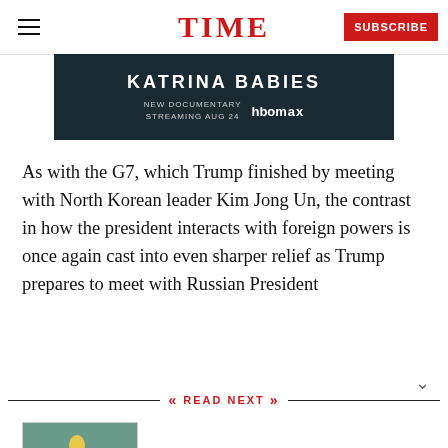TIME
[Figure (other): Advertisement banner for 'Katrina Babies' documentary streaming Aug 24 on HBO Max, dark teal background]
As with the G7, which Trump finished by meeting with North Korean leader Kim Jong Un, the contrast in how the president interacts with foreign powers is once again cast into even sharper relief as Trump prepares to meet with Russian President
READ NEXT
London Brawling